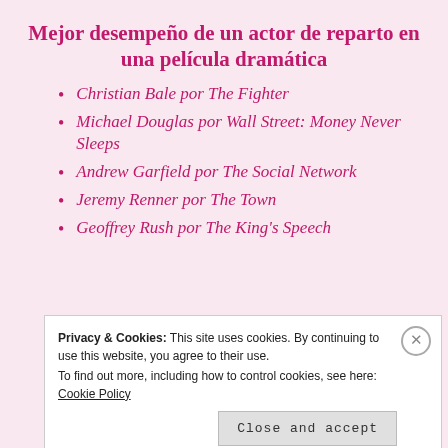Mejor desempeño de un actor de reparto en una película dramática
Christian Bale por The Fighter
Michael Douglas por Wall Street: Money Never Sleeps
Andrew Garfield por The Social Network
Jeremy Renner por The Town
Geoffrey Rush por The King's Speech
Privacy & Cookies: This site uses cookies. By continuing to use this website, you agree to their use. To find out more, including how to control cookies, see here: Cookie Policy Close and accept